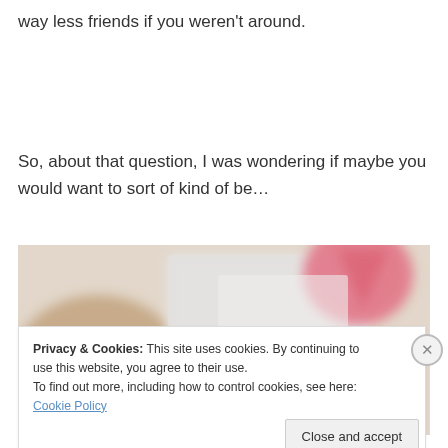way less friends if you weren't around.
So, about that question, I was wondering if maybe you would want to sort of kind of be…
[Figure (photo): Close-up blurred photo of what appears to be a pink and white gift box or cake, held by a hand, with soft focus background.]
Privacy & Cookies: This site uses cookies. By continuing to use this website, you agree to their use.
To find out more, including how to control cookies, see here: Cookie Policy
Close and accept